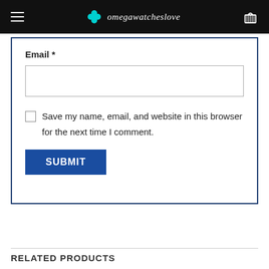omegawatcheslove
Email *
Save my name, email, and website in this browser for the next time I comment.
SUBMIT
RELATED PRODUCTS